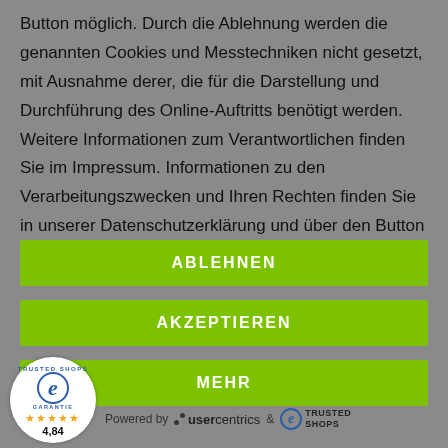Button möglich. Durch die Ablehnung werden die genannten Cookies und Messtechniken nicht gesetzt, mit Ausnahme derer, die für die Darstellung und Durchführung des Online-Auftritts benötigt werden. Weitere Informationen zum Verantwortlichen finden Sie im Impressum. Informationen zu den Verarbeitungszwecken und Ihren Rechten finden Sie in unserer Datenschutzerklärung und über den Button "Mehr".
ABLEHNEN
AKZEPTIEREN
MEHR
[Figure (logo): Trusted Shops Garantie seal with 'e' logo, 5 stars and rating 4,84]
Powered by usercentrics & TRUSTED SHOPS